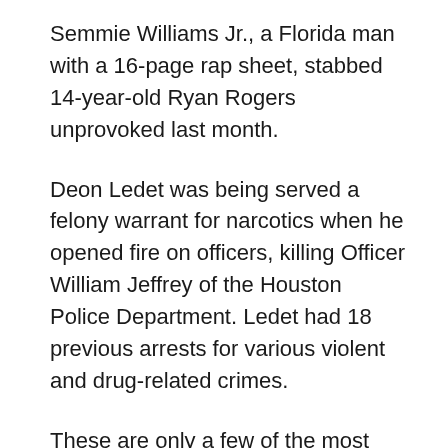Semmie Williams Jr., a Florida man with a 16-page rap sheet, stabbed 14-year-old Ryan Rogers unprovoked last month.
Deon Ledet was being served a felony warrant for narcotics when he opened fire on officers, killing Officer William Jeffrey of the Houston Police Department. Ledet had 18 previous arrests for various violent and drug-related crimes.
These are only a few of the most recent stories that have come out about repeat offenders and their continued violent crimes. Yet, courts